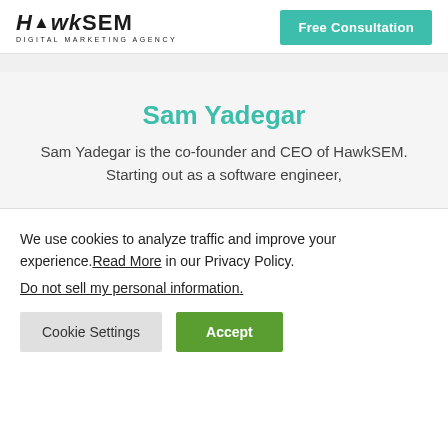HawkSEM Digital Marketing Agency | Free Consultation
Sam Yadegar
Sam Yadegar is the co-founder and CEO of HawkSEM. Starting out as a software engineer,
We use cookies to analyze traffic and improve your experience. Read More in our Privacy Policy.
Do not sell my personal information.
Cookie Settings | Accept